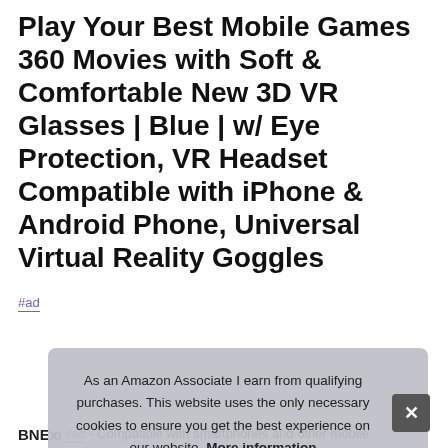Play Your Best Mobile Games 360 Movies with Soft & Comfortable New 3D VR Glasses | Blue | w/ Eye Protection, VR Headset Compatible with iPhone & Android Phone, Universal Virtual Reality Goggles
#ad
[Figure (infographic): Feature bar with four cells: 'Tailored to your vision' with purple pills, 'Premium lenses' with purple pills, 'Comfortable extended-wear design' with purple pills, 'Compatible with iPhone & Android smartphones' with purple pills.]
As an Amazon Associate I earn from qualifying purchases. This website uses the only necessary cookies to ensure you get the best experience on our website. More information
BNEx t #ad - Compatible with smartphones and other mobile